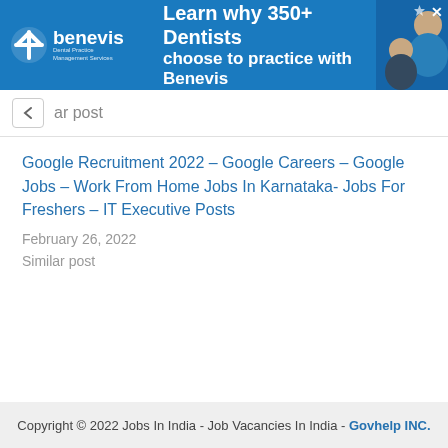[Figure (other): Benevis dental practice management services advertisement banner. Blue background with logo, text 'Learn why 350+ Dentists choose to practice with Benevis', and photo of dentist with patient.]
ar post
Google Recruitment 2022 – Google Careers – Google Jobs – Work From Home Jobs In Karnataka- Jobs For Freshers – IT Executive Posts
February 26, 2022
Similar post
Copyright © 2022 Jobs In India - Job Vacancies In India - Govhelp INC.